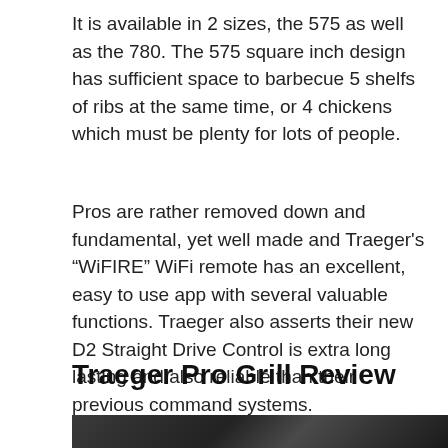It is available in 2 sizes, the 575 as well as the 780. The 575 square inch design has sufficient space to barbecue 5 shelfs of ribs at the same time, or 4 chickens which must be plenty for lots of people.
Pros are rather removed down and fundamental, yet well made and Traeger's “WiFIRE” WiFi remote has an excellent, easy to use app with several valuable functions. Traeger also asserts their new D2 Straight Drive Control is extra long lasting and also reliable than their previous command systems.
Traeger Pro Grill Review
[Figure (photo): Bottom edge of a photo showing a dark/black image, partially visible at the bottom of the page.]